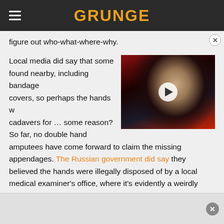GRUNGE
figure out who-what-where-why.

Local media did say that some found nearby, including bandage covers, so perhaps the hands were cadavers for … some reason? So far, no double hand amputees have come forward to claim the missing appendages. The Russian government did say they believed the hands were illegally disposed of by a local medical examiner's office, where it's evidently a weirdly common practice to cut off corpses' hands for "future
[Figure (screenshot): Video thumbnail showing a person with heavy dark eye makeup and black lips, appearing to be a music video or interview screenshot, with a play button overlay.]